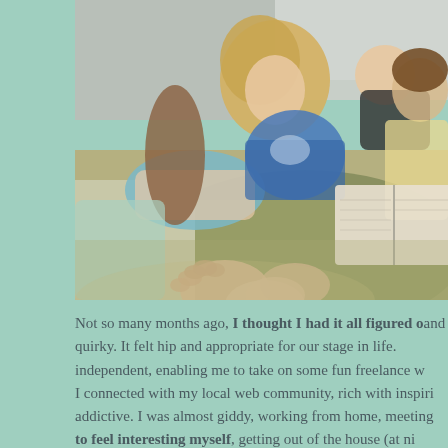[Figure (photo): A mother and children lounging on a bed/couch reading a book together. Children have bare feet, one child has curly blonde hair, another is a baby. The scene is warm and domestic, photographed with a shallow depth of field giving a soft blurred quality.]
Not so many months ago, I thought I had it all figured out and quirky. It felt hip and appropriate for our stage in life. independent, enabling me to take on some fun freelance w... I connected with my local web community, rich with inspiri... addictive. I was almost giddy, working from home, meeting... to feel interesting myself, getting out of the house (at ni... beautiful, adorable, intoxicating family.